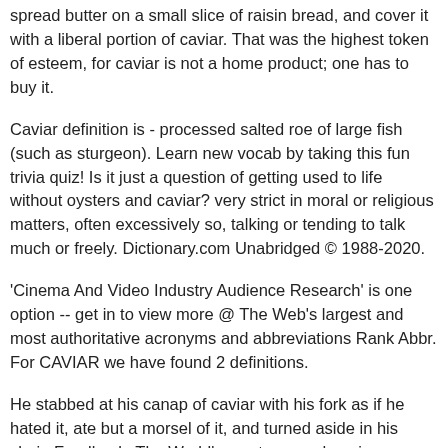spread butter on a small slice of raisin bread, and cover it with a liberal portion of caviar. That was the highest token of esteem, for caviar is not a home product; one has to buy it.
Caviar definition is - processed salted roe of large fish (such as sturgeon). Learn new vocab by taking this fun trivia quiz! Is it just a question of getting used to life without oysters and caviar? very strict in moral or religious matters, often excessively so, talking or tending to talk much or freely. Dictionary.com Unabridged © 1988-2020.
'Cinema And Video Industry Audience Research' is one option -- get in to view more @ The Web's largest and most authoritative acronyms and abbreviations Rank Abbr. For CAVIAR we have found 2 definitions.
He stabbed at his canap of caviar with his fork as if he hated it, ate but a morsel of it, and turned aside in his chair. Feedback, The World's most comprehensive professionally edited abbreviations